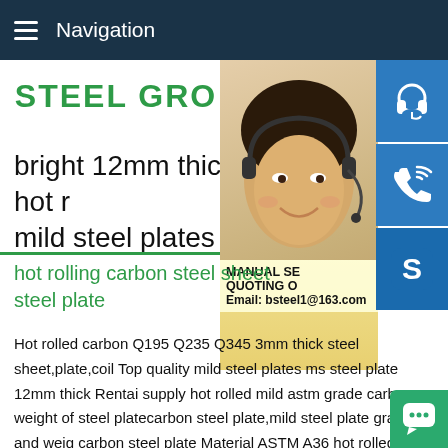Navigation
STEEL GR[OUP]
bright 12mm thick hot [rolled] mild steel plates
[Figure (photo): Woman wearing headset, customer service representative, partially visible on right side of page. Three blue icon buttons on far right: headset/customer service icon, phone/call icon, Skype icon. Overlay text shows MANUAL SE[RVICE], QUOTING O[NLINE], Email: bsteel1@163.com]
hot rolling carbon steel sheet [and] steel plate
Hot rolled carbon Q195 Q235 Q345 3mm thick steel sheet,plate,coil Top quality mild steel plates ms steel plate 12mm thick Rentai supply hot rolled mild astm grade carbon weight of steel platecarbon steel plate,mild steel plate grade a and weig[ht of] carbon steel plate Material ASTM A36 hot rolled steel plates a[nd]